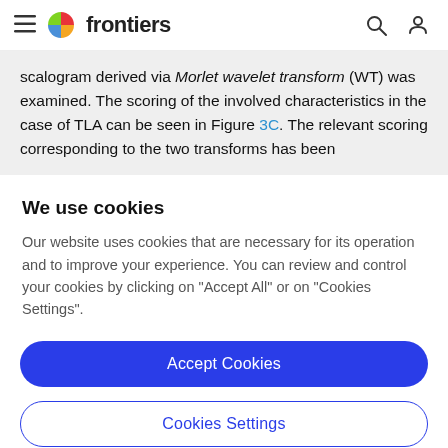frontiers
scalogram derived via Morlet wavelet transform (WT) was examined. The scoring of the involved characteristics in the case of TLA can be seen in Figure 3C. The relevant scoring corresponding to the two transforms has been
We use cookies
Our website uses cookies that are necessary for its operation and to improve your experience. You can review and control your cookies by clicking on "Accept All" or on "Cookies Settings".
Accept Cookies
Cookies Settings